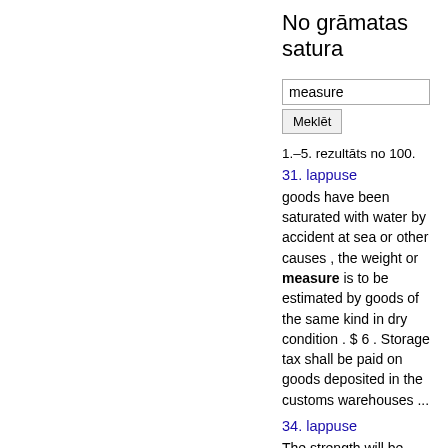No grāmatas satura
measure
Meklēt
1.–5. rezultāts no 100.
31. lappuse
goods have been saturated with water by accident at sea or other causes , the weight or measure is to be estimated by goods of the same kind in dry condition . $ 6 . Storage tax shall be paid on goods deposited in the customs warehouses ...
34. lappuse
The strength will be measured by the brandy - tester at any time